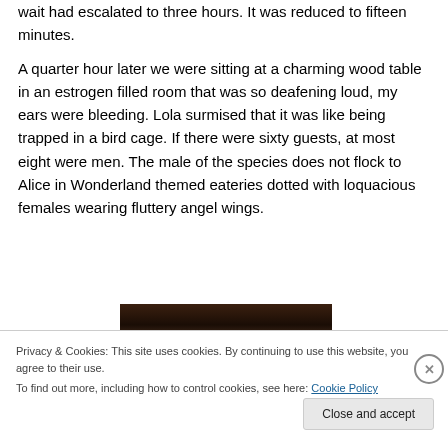wait had escalated to three hours. It was reduced to fifteen minutes.
A quarter hour later we were sitting at a charming wood table in an estrogen filled room that was so deafening loud, my ears were bleeding. Lola surmised that it was like being trapped in a bird cage. If there were sixty guests, at most eight were men. The male of the species does not flock to Alice in Wonderland themed eateries dotted with loquacious females wearing fluttery angel wings.
[Figure (photo): Partial dark photo visible behind cookie banner, appears to show a dimly lit interior scene]
Privacy & Cookies: This site uses cookies. By continuing to use this website, you agree to their use.
To find out more, including how to control cookies, see here: Cookie Policy